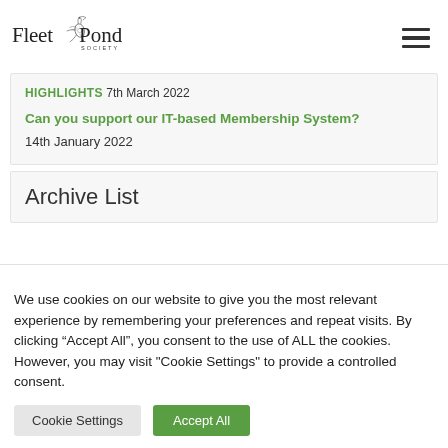Fleet Pond Society
HIGHLIGHTS 7th March 2022
Can you support our IT-based Membership System?
14th January 2022
Archive List
We use cookies on our website to give you the most relevant experience by remembering your preferences and repeat visits. By clicking “Accept All”, you consent to the use of ALL the cookies. However, you may visit "Cookie Settings" to provide a controlled consent.